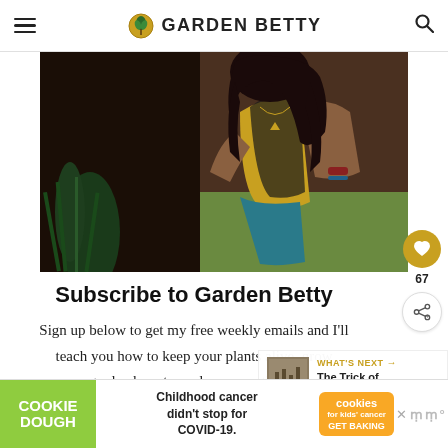GARDEN BETTY
[Figure (photo): Woman with dark hair wearing a yellow top and teal pants sitting among garden plants]
Subscribe to Garden Betty
Sign up below to get my free weekly emails and I'll teach you how to keep your plants alive, grow your garden bounty, and preserve the harvest.
[Figure (infographic): What's Next panel showing thumbnail and text: The Trick of Knowing...]
[Figure (infographic): Cookie Dough ad banner: Childhood cancer didn't stop for COVID-19. GET BAKING.]